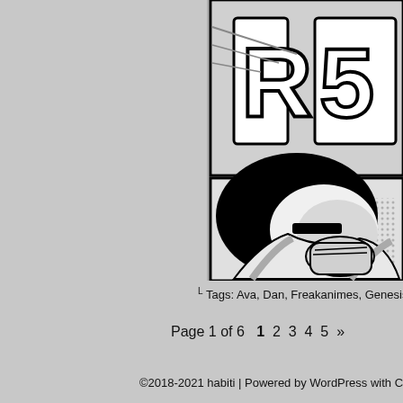[Figure (illustration): Partial comic-style illustration showing a pop-art character face in black and white with halftone shading, partially cropped on the right side of the page. Top panel shows text/letters partially visible, bottom panel shows a close-up of a face with closed eyes.]
⌐ Tags: Ava, Dan, Freakanimes, Genesis, ...
Page 1 of 6   1  2  3  4  5  »
©2018-2021 habiti | Powered by WordPress with Com...